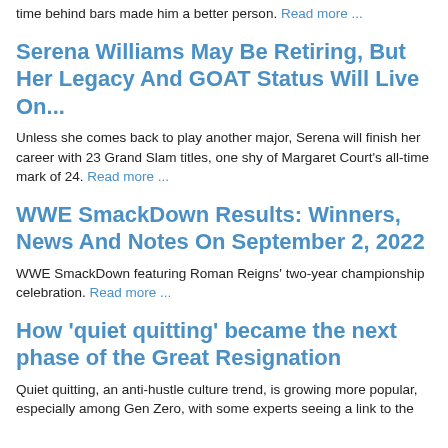time behind bars made him a better person. Read more ...
Serena Williams May Be Retiring, But Her Legacy And GOAT Status Will Live On...
Unless she comes back to play another major, Serena will finish her career with 23 Grand Slam titles, one shy of Margaret Court's all-time mark of 24. Read more ...
WWE SmackDown Results: Winners, News And Notes On September 2, 2022
WWE SmackDown featuring Roman Reigns' two-year championship celebration. Read more ...
How 'quiet quitting' became the next phase of the Great Resignation
Quiet quitting, an anti-hustle culture trend, is growing more popular, especially among Gen Zero, with some experts seeing a link to the